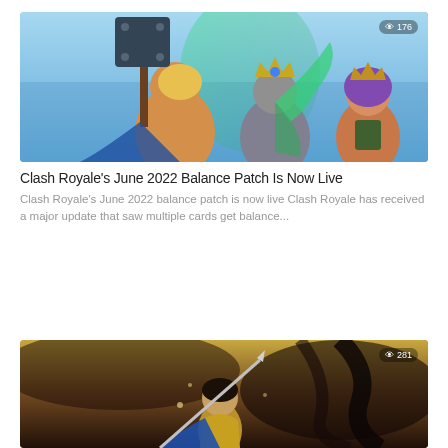[Figure (illustration): Clash Royale game art showing three fantasy characters: a muscular warrior with a large hammer on the left, an armored king character in the center with a glowing green effect, and a queen character with purple hair and a crown on the right. A view count badge shows 176 in the top right corner.]
Clash Royale's June 2022 Balance Patch Is Now Live
Clash Royale's June 2022 balance patch is now live Clash Royale has received a major update that saw multiple cards get balance...
[Figure (illustration): Mobile Legends or similar game art showing an archer/warrior character in golden armor with a blue cape, holding a weapon, set against a dramatic dark sky background. A view count badge shows 281 in the top right corner.]